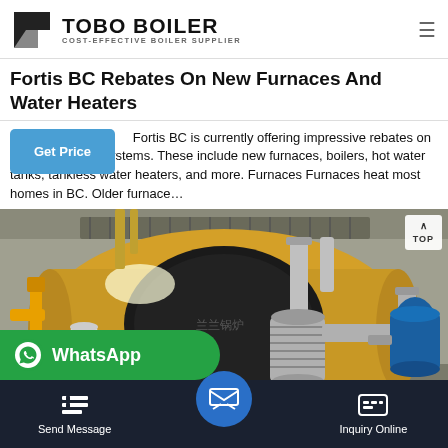TOBO BOILER — COST-EFFECTIVE BOILER SUPPLIER
Fortis BC Rebates On New Furnaces And Water Heaters
Fortis BC is currently offering impressive rebates on d water heating systems. These include new furnaces, boilers, hot water tanks, tankless water heaters, and more. Furnaces Furnaces heat most homes in BC. Older furnace…
[Figure (photo): Industrial boiler room with large cylindrical boiler unit, yellow and silver pipes, and blue pressure tank]
WhatsApp